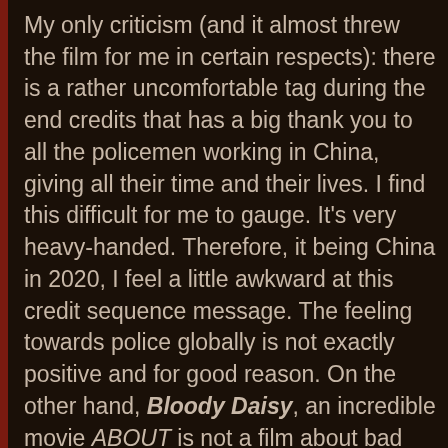My only criticism (and it almost threw the film for me in certain respects): there is a rather uncomfortable tag during the end credits that has a big thank you to all the policemen working in China, giving all their time and their lives. I find this difficult for me to gauge. It's very heavy-handed. Therefore, it being China in 2020, I feel a little awkward at this credit sequence message. The feeling towards police globally is not exactly positive and for good reason. On the other hand, Bloody Daisy, an incredible movie ABOUT is not a film about bad cops. HOWEVER the end credit praise was a little off-color for me and didn't